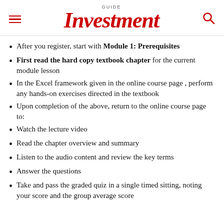GUIDE Investment
After you register, start with Module 1: Prerequisites
First read the hard copy textbook chapter for the current module lesson
In the Excel framework given in the online course page , perform any hands-on exercises directed in the textbook
Upon completion of the above, return to the online course page to:
Watch the lecture video
Read the chapter overview and summary
Listen to the audio content and review the key terms
Answer the questions
Take and pass the graded quiz in a single timed sitting, noting your score and the group average score